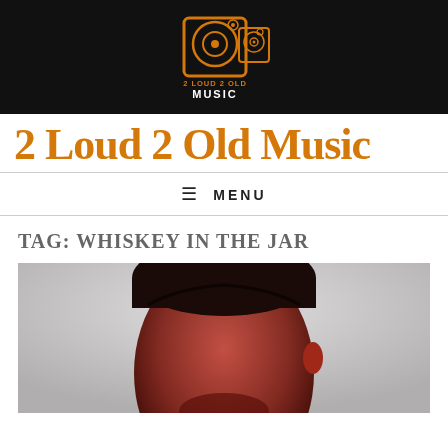[Figure (logo): 2 Loud 2 Old Music logo: orange speaker icons on black background with text '2 LOUD 2 OLD MUSIC']
2 Loud 2 Old Music
MENU
TAG: WHISKEY IN THE JAR
[Figure (photo): Close-up photo of a man's face with dark hair styled back, lit in red/dark tones]